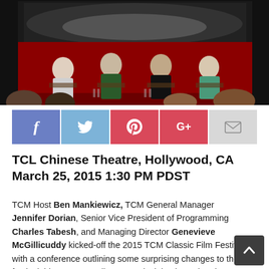[Figure (photo): Panel discussion photo at TCL Chinese Theatre. Four panelists seated in chairs on a stage with a large red curtain backdrop and a movie screen visible above. The audience heads are visible in the foreground.]
[Figure (infographic): Social media sharing bar with five buttons: Facebook (blue), Twitter (light blue), Pinterest (red), Google+ (red), and Email (light gray), each with their respective icons.]
TCL Chinese Theatre, Hollywood, CA March 25, 2015 1:30 PM PDST
TCM Host Ben Mankiewicz, TCM General Manager Jennifer Dorian, Senior Vice President of Programming Charles Tabesh, and Managing Director Genevieve McGillicuddy kicked-off the 2015 TCM Classic Film Festival with a conference outlining some surprising changes to the festival this year, as well as some insights into what the year ahead